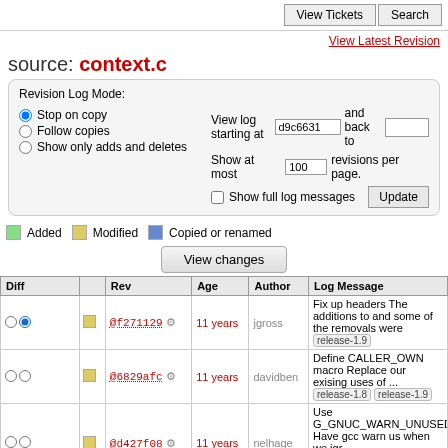View Tickets | Search
View Latest Revision
source: context.c
Revision Log Mode: Stop on copy / Follow copies / Show only adds and deletes | View log starting at d9c6631 and back to [blank] | Show at most 100 revisions per page. | Show full log messages | Update
Added   Modified   Copied or renamed
View changes
| Diff |  | Rev | Age | Author | Log Message |
| --- | --- | --- | --- | --- | --- |
| ○ ● | [mod] | @f271129 ⚙ | 11 years | jgross | Fix up headers The additions to and some of the removals were release-1.9 |
| ○ ○ | [mod] | @6829afc ⚙ | 11 years | davidben | Define CALLER_OWN macro Replace our exising uses of ... release-1.8 release-1.9 |
| ○ ○ | [mod] | @d427f08 ⚙ | 11 years | nelhage | Use G_GNUC_WARN_UNUSED_R Have gcc warn us when we igr ... release-1.8 release-1.9 |
| ○ ○ | [mod] | @d4927a7 ⚙ | 12 years | andersk | Replace owl_strdup with g_stro Signed-off-by: Anders Kaseorg release-1.8 release-1.9 |
| ○ ○ | [mod] | @ddbbcffa ⚙ | 12 years | andersk | Replace owl_free with g_free. Signed off-by: Anders Kaseorg ... rele 1.8 release-1.9 |